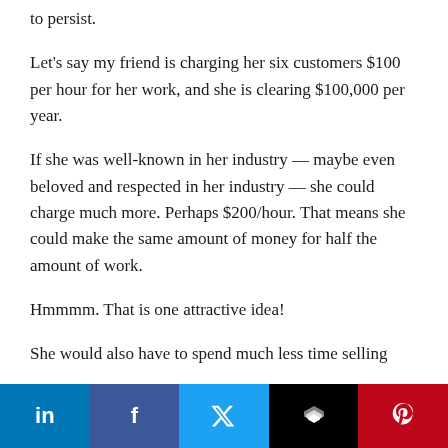to persist.
Let’s say my friend is charging her six customers $100 per hour for her work, and she is clearing $100,000 per year.
If she was well-known in her industry — maybe even beloved and respected in her industry — she could charge much more. Perhaps $200/hour. That means she could make the same amount of money for half the amount of work.
Hmmmm. That is one attractive idea!
She would also have to spend much less time selling